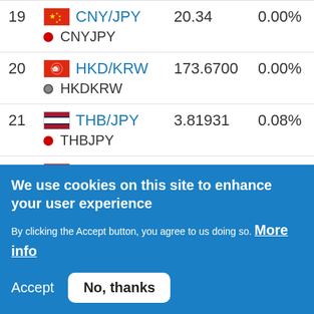| # | Pair | Price | Change% | Score |
| --- | --- | --- | --- | --- |
| 19 | CNY/JPY (CNYJPY) | 20.34 | 0.00% | 0.6 |
| 20 | HKD/KRW (HKDKRW) | 173.6700 | 0.00% | 0.6 |
| 21 | THB/JPY (THBJPY) | 3.81931 | 0.08% | 0.6 |
| 22 | TRY/JPY | 7.700 | 0.03% | 0.6 |
We use cookies on this site to enhance your user experience
By clicking the Accept button, you agree to us doing so. More info
Accept  No, thanks